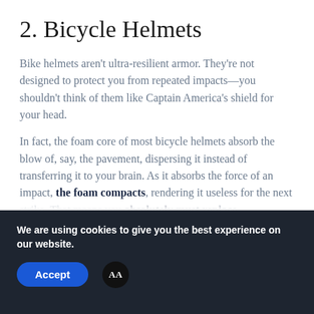2. Bicycle Helmets
Bike helmets aren't ultra-resilient armor. They're not designed to protect you from repeated impacts—you shouldn't think of them like Captain America's shield for your head.
In fact, the foam core of most bicycle helmets absorb the blow of, say, the pavement, dispersing it instead of transferring it to your brain. As it absorbs the force of an impact, the foam compacts, rendering it useless for the next strike. That means you absolutely must replace
We are using cookies to give you the best experience on our website.